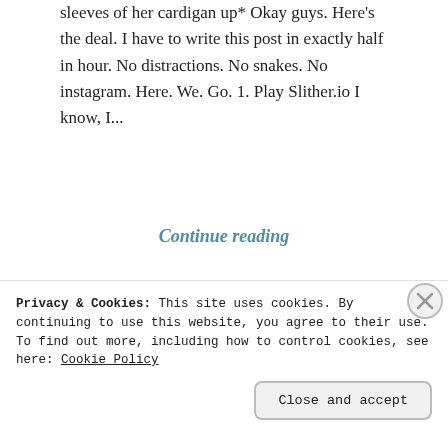sleeves of her cardigan up* Okay guys. Here's the deal. I have to write this post in exactly half in hour. No distractions. No snakes. No instagram. Here. We. Go. 1. Play Slither.io I know, I...
Continue reading
[Figure (illustration): Horizontal dashed divider with three decorative button icons in the center]
[Figure (illustration): Dark red banner with gold stars pattern, partially visible at bottom of page]
Privacy & Cookies: This site uses cookies. By continuing to use this website, you agree to their use. To find out more, including how to control cookies, see here: Cookie Policy
Close and accept